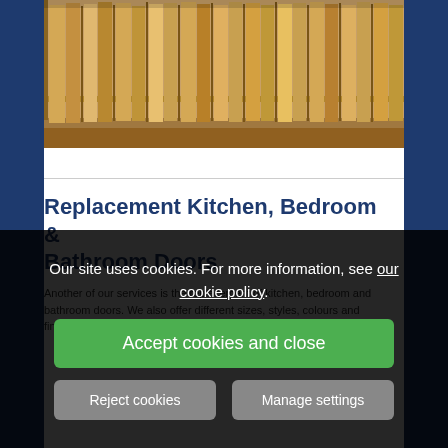[Figure (photo): Photo of wooden door panels/sheets stored upright in a warehouse or showroom rack, viewed from the side showing rows of vertical panel edges]
Replacement Kitchen, Bedroom & Bathroom Doors
Another of our services is the replacement of kitchen, bedroom and bathroom doors. We also offer different sizes, styles, colours and finishes. We are bound to have the correct door for you.
Our site uses cookies. For more information, see our cookie policy.
Accept cookies and close
Reject cookies
Manage settings